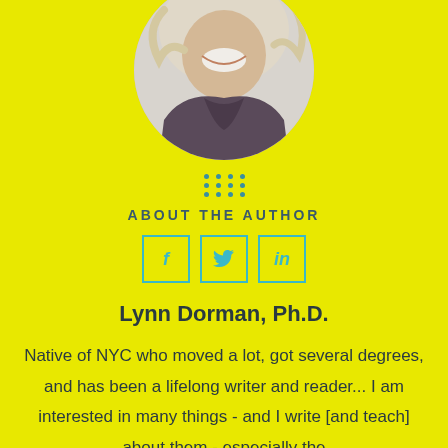[Figure (photo): Circular cropped photo of a smiling person with light hair wearing a dark jacket, shown from chin to chest]
ABOUT THE AUTHOR
[Figure (other): Three social media icon boxes: Facebook (f), Twitter (bird icon), LinkedIn (in)]
Lynn Dorman, Ph.D.
Native of NYC who moved a lot, got several degrees, and has been a lifelong writer and reader... I am interested in many things - and I write [and teach] about them - especially the